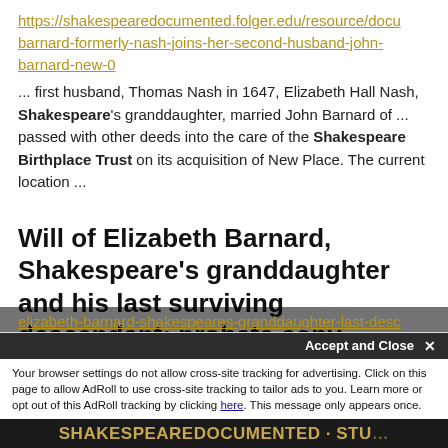https://shakespearedocumented.folger.edu/resource/docu barnard-formerly-nash-joins-her-second-husband-john-barnard-new-0
... first husband, Thomas Nash in 1647, Elizabeth Hall Nash, Shakespeare's granddaughter, married John Barnard of ... passed with other deeds into the care of the Shakespeare Birthplace Trust on its acquisition of New Place. The current location ...
Will of Elizabeth Barnard, Shakespeare's granddaughter and his last surviving descendant: probate copy
https://shakespearedocumented.folger.edu/resource/docu
elizabeth-barnard-shakespeares-granddaughter-last-desc
Accept and Close ×
Your browser settings do not allow cross-site tracking for advertising. Click on this page to allow AdRoll to use cross-site tracking to tailor ads to you. Learn more or opt out of this AdRoll tracking by clicking here. This message only appears once.
SHAKESPEAREDOCUMENTED · STU...